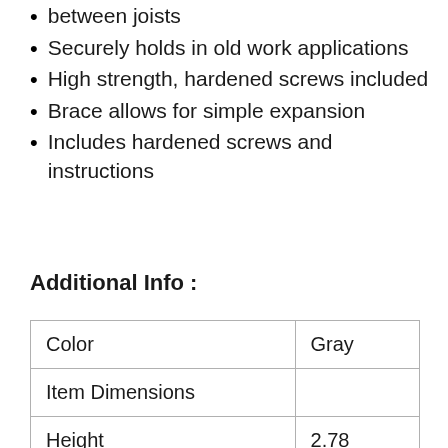between joists
Securely holds in old work applications
High strength, hardened screws included
Brace allows for simple expansion
Includes hardened screws and instructions
Additional Info :
|  |  |
| --- | --- |
| Color | Gray |
| Item Dimensions |  |
| Height | 2.78 |
| Width | 4.22 |